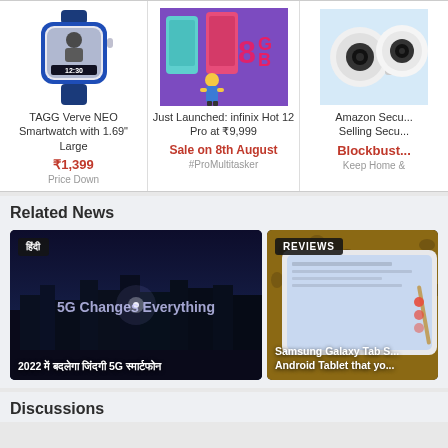[Figure (photo): TAGG Verve NEO Smartwatch product image - blue smartwatch with person's face on screen showing 12:30]
TAGG Verve NEO Smartwatch with 1.69" Large
₹1,399
Price Down
[Figure (photo): Infinix Hot 12 Pro phone launch promotional image with 8GB text and cartoon character]
Just Launched: infinix Hot 12 Pro at ₹9,999
Sale on 8th August
#ProMultitasker
[Figure (photo): Amazon security camera product image - white dual camera security device]
Amazon Secu... Selling Secu...
Blockbust...
Keep Home &
Related News
[Figure (photo): 5G Changes Everything - dark cityscape aerial view with tablet overlay, news video thumbnail with Hindi text badge]
2022 में बदलेगा जिंदगी 5G स्मार्टफोन
[Figure (photo): Samsung Galaxy Tab S review - tablet with leopard print case on surface with stylus]
Samsung Galaxy Tab S... Android Tablet that yo...
Discussions